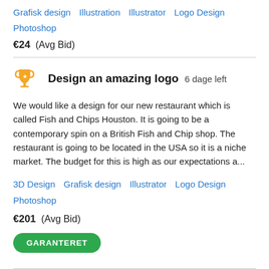Grafisk design   Illustration   Illustrator   Logo Design   Photoshop
€24  (Avg Bid)
Design an amazing logo   6 dage left
We would like a design for our new restaurant which is called Fish and Chips Houston. It is going to be a contemporary spin on a British Fish and Chip shop. The restaurant is going to be located in the USA so it is a niche market. The budget for this is high as our expectations a...
3D Design   Grafisk design   Illustrator   Logo Design   Photoshop
€201  (Avg Bid)
GARANTERET